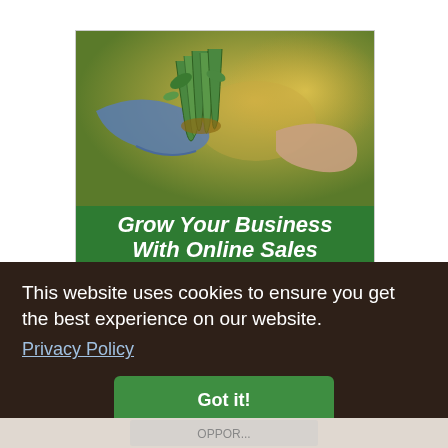[Figure (illustration): Advertisement banner for Food4All showing hands exchanging fresh produce (celery/herbs) with a headline 'Grow Your Business With Online Sales', descriptive text about connecting with local consumers, and a call to action 'Learn more at Food4All.com.']
This website uses cookies to ensure you get the best experience on our website.
Privacy Policy
Got it!